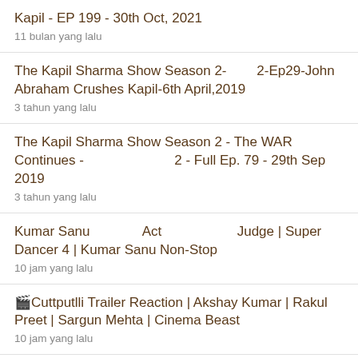Kapil - EP 199 - 30th Oct, 2021
11 bulan yang lalu
The Kapil Sharma Show Season 2-        2-Ep29-John Abraham Crushes Kapil-6th April,2019
3 tahun yang lalu
The Kapil Sharma Show Season 2 - The WAR Continues -                           2 - Full Ep. 79 - 29th Sep 2019
3 tahun yang lalu
Kumar Sanu              Act                    Judge | Super Dancer 4 | Kumar Sanu Non-Stop
10 jam yang lalu
🎬Cuttputlli Trailer Reaction | Akshay Kumar | Rakul Preet | Sargun Mehta | Cinema Beast
10 jam yang lalu